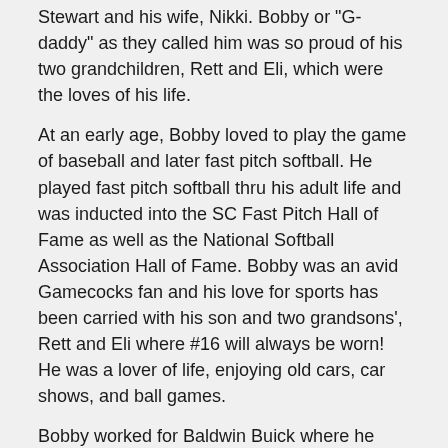Stewart and his wife, Nikki. Bobby or "G-daddy" as they called him was so proud of his two grandchildren, Rett and Eli, which were the loves of his life.
At an early age, Bobby loved to play the game of baseball and later fast pitch softball. He played fast pitch softball thru his adult life and was inducted into the SC Fast Pitch Hall of Fame as well as the National Softball Association Hall of Fame. Bobby was an avid Gamecocks fan and his love for sports has been carried with his son and two grandsons', Rett and Eli where #16 will always be worn! He was a lover of life, enjoying old cars, car shows, and ball games.
Bobby worked for Baldwin Buick where he served as a sales representative and later retired as sales manager. He was one of the founding members of the Dixie Corvette Club and was also a member of the Laurens County Cruisers Car Club. Bobby was a member of Chestnut Ridge Baptist Church, which held a special place in his heart.
A celebration of Bobby's life will be 3:00 p.m. Wednesday, November 15, at Chestnut Ridge Baptist Church. Burial will follow in Westview Memorial Park. The family requests that Bobby's friends drive their classic cars to the celebration of his life.